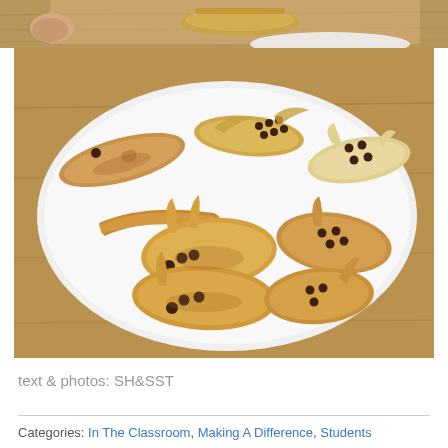[Figure (photo): Partial top photo showing a golden/bronze decorative figurine or object on a wooden table background]
[Figure (photo): A white oval plate on a wooden table holding multiple bread rolls shaped like rabbits/bunnies and fish/bird forms with chocolate chip eyes and details, baked golden brown]
text & photos: SH&SST
Categories: In The Classroom, Making A Difference, Students Comments (0)